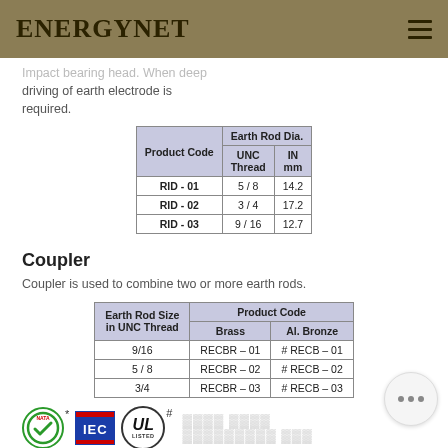ENERGYNET
Impact bearing head. When deep driving of earth electrode is required.
| Product Code | Earth Rod Dia. UNC Thread | Earth Rod Dia. IN mm |
| --- | --- | --- |
| RID - 01 | 5 / 8 | 14.2 |
| RID - 02 | 3 / 4 | 17.2 |
| RID - 03 | 9 / 16 | 12.7 |
Coupler
Coupler is used to combine two or more earth rods.
| Earth Rod Size in UNC Thread | Product Code Brass | Product Code Al. Bronze |
| --- | --- | --- |
| 9/16 | RECBR – 01 | # RECB – 01 |
| 5 / 8 | RECBR – 02 | # RECB – 02 |
| 3/4 | RECBR – 03 | # RECB – 03 |
[Figure (logo): Certification logos: green checkmark circle with star mark (*), IEC logo, UL Listed circle with hash (#)]